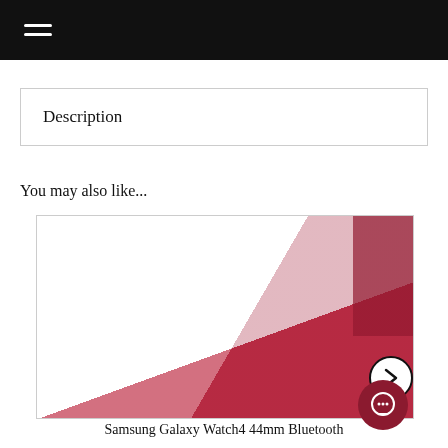Navigation bar with hamburger menu
Description
You may also like...
[Figure (photo): Product image area - white/red image for Samsung Galaxy Watch4, with a forward arrow navigation button overlay and a red chat button in bottom right]
Samsung Galaxy Watch4 44mm Bluetooth